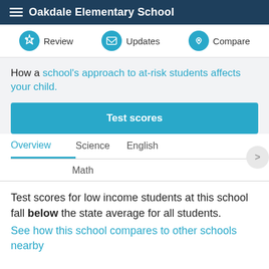Oakdale Elementary School
[Figure (screenshot): Navigation bar with Review, Updates, and Compare buttons with circular teal icons]
How a school's approach to at-risk students affects your child.
Test scores
Overview  Science  English  Math
Test scores for low income students at this school fall below the state average for all students.
See how this school compares to other schools nearby